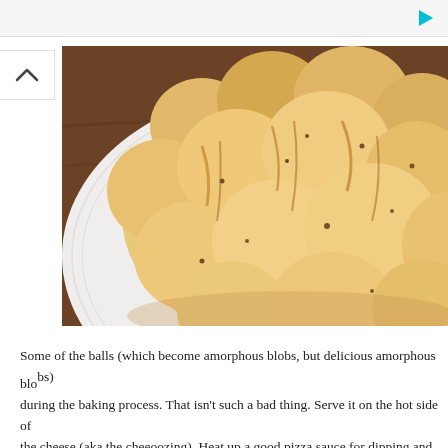[Figure (photo): Close-up photo of pull-apart cheesy bread rolls arranged in a ring on a white ridged plate, placed on a wooden surface. The bread rolls are golden-brown with speckles of herbs/seasoning.]
Some of the balls (which become amorphous blobs, but delicious amorphous blo... during the baking process. That isn't such a bad thing. Serve it on the hot side of... the cheese (aka the cheeoozing). Heat up a good pizza sauce for dipping and the... emanating from the mouths of your family, friends, or guests. I stopped away fo...